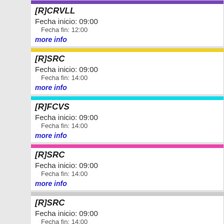[R]CRVLL
Fecha inicio: 09:00
Fecha fin: 12:00
more info
[R]SRC
Fecha inicio: 09:00
Fecha fin: 14:00
more info
[R]FCVS
Fecha inicio: 09:00
Fecha fin: 14:00
more info
[R]SRC
Fecha inicio: 09:00
Fecha fin: 14:00
more info
[R]SRC
Fecha inicio: 09:00
Fecha fin: 14:00
more info
[R]SRC
Fecha inicio: 09:00
Fecha fin: 14:00
more info